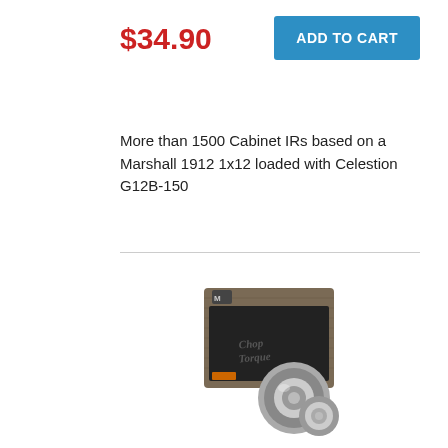$34.90
ADD TO CART
More than 1500 Cabinet IRs based on a Marshall 1912 1x12 loaded with Celestion G12B-150
[Figure (photo): Product photo of a Marshall 1912 1x12 guitar cabinet loaded with Celestion G12B-150 speaker, shown as a small 3D rendered image of a wood cabinet with a chrome speaker visible.]